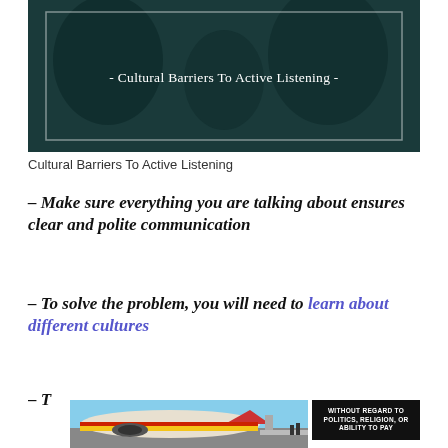[Figure (photo): Dark teal/blue background image with a rectangular border overlay and centered white text reading '- Cultural Barriers To Active Listening -', with silhouettes of people visible in the background]
Cultural Barriers To Active Listening
– Make sure everything you are talking about ensures clear and polite communication
– To solve the problem, you will need to learn about different cultures
[Figure (photo): Partial view of an airplane on a tarmac with cargo being loaded, colorful aircraft livery visible, alongside a dark badge with white text reading 'WITHOUT REGARD TO POLITICS, RELIGION, OR ABILITY TO PAY']